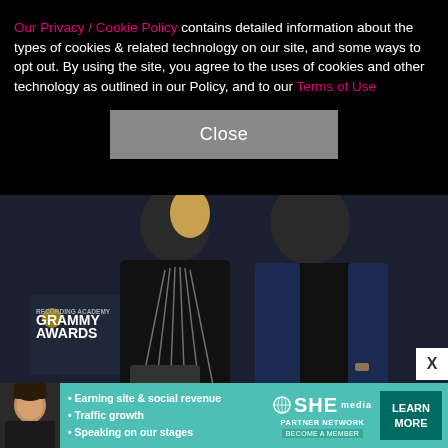Our Privacy / Cookie Policy contains detailed information about the types of cookies & related technology on our site, and some ways to opt out. By using the site, you agree to the uses of cookies and other technology as outlined in our Policy, and to our Terms of Use
Close
[Figure (photo): Two people posing at a Grammy Awards event backdrop. A woman in a black dress with silver zipper details holds a clutch purse, and a man in a black shirt with a blue velvet jacket stands beside her.]
[Figure (infographic): Advertisement banner for SHE Partner Network with bullet points: Earning site & social revenue, Traffic growth, Speaking on our stages. Includes LEARN MORE button and BECOME A MEMBER text.]